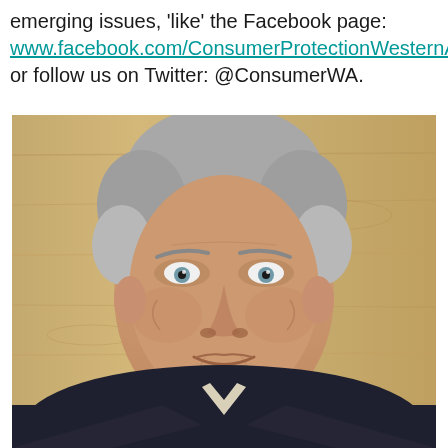emerging issues, 'like' the Facebook page: www.facebook.com/ConsumerProtectionWesternAustralia or follow us on Twitter: @ConsumerWA.
[Figure (photo): Portrait photo of an older man with grey hair, blue eyes, wearing a dark suit jacket and light-coloured shirt with a tie, smiling slightly, against a wooden background.]